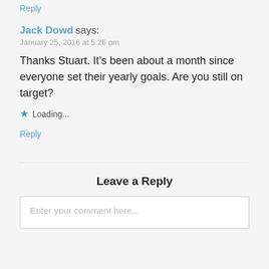Reply
Jack Dowd says:
January 25, 2016 at 5:26 pm
Thanks Stuart. It’s been about a month since everyone set their yearly goals. Are you still on target?
★ Loading...
Reply
Leave a Reply
Enter your comment here...